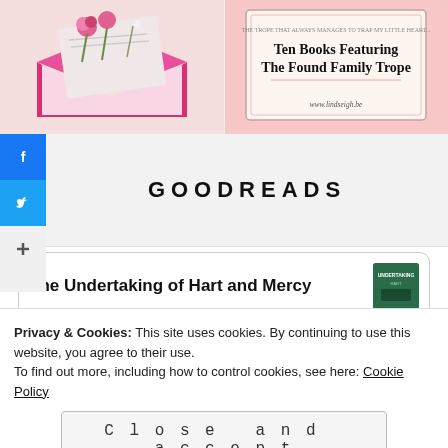[Figure (photo): Pink envelope with flowers on a light pink background]
[Figure (illustration): Book list card: 'Ten Books Featuring The Found Family Trope' on pink background, www.lindseigh.be]
[Figure (other): Social share buttons: Facebook (blue), Twitter (blue), plus button (gray)]
GOODREADS
The Undertaking of Hart and Mercy
Privacy & Cookies: This site uses cookies. By continuing to use this website, you agree to their use.
To find out more, including how to control cookies, see here: Cookie Policy
Close and accept
A Di... of Wit...